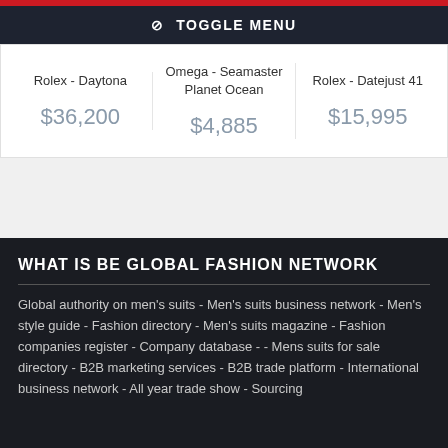⊘ TOGGLE MENU
| Product | Product | Product |
| --- | --- | --- |
| Rolex - Daytona | Omega - Seamaster Planet Ocean | Rolex - Datejust 41 |
| $36,200 | $4,885 | $15,995 |
WHAT IS BE GLOBAL FASHION NETWORK
Global authority on men's suits - Men's suits business network - Men's style guide - Fashion directory - Men's suits magazine - Fashion companies register - Company database - - Mens suits for sale directory - B2B marketing services - B2B trade platform - International business network - All year trade show - Sourcing